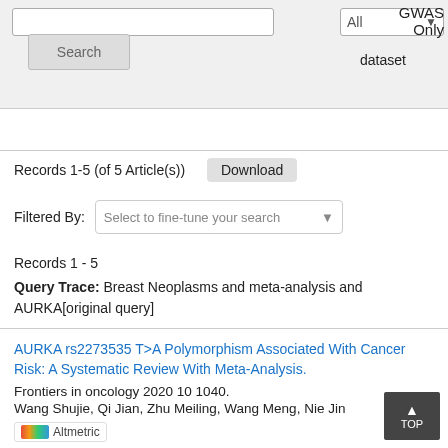[Figure (screenshot): Top search bar UI with Search button, All dropdown, GWAS Only label, and dataset label]
Records 1-5 (of 5 Article(s))
Download
Filtered By:  Select to fine-tune your search
Records 1 - 5
Query Trace: Breast Neoplasms and meta-analysis and AURKA[original query]
AURKA rs2273535 T>A Polymorphism Associated With Cancer Risk: A Systematic Review With Meta-Analysis.
Frontiers in oncology 2020 10 1040.
Wang Shujie, Qi Jian, Zhu Meiling, Wang Meng, Nie Jin
Similar articles in PubMed